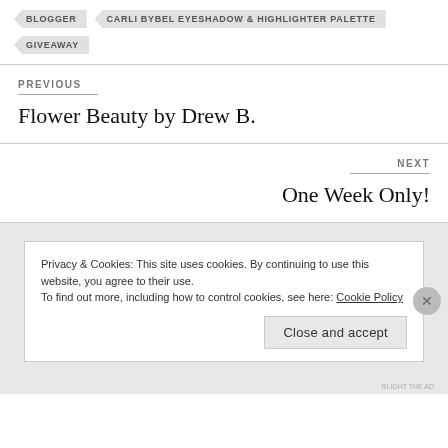BLOGGER
CARLI BYBEL EYESHADOW & HIGHLIGHTER PALETTE
GIVEAWAY
PREVIOUS
Flower Beauty by Drew B.
NEXT
One Week Only!
Privacy & Cookies: This site uses cookies. By continuing to use this website, you agree to their use.
To find out more, including how to control cookies, see here: Cookie Policy
Close and accept